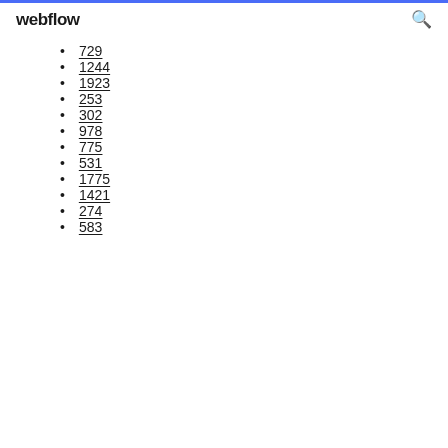webflow
729
1244
1923
253
302
978
775
531
1775
1421
274
583